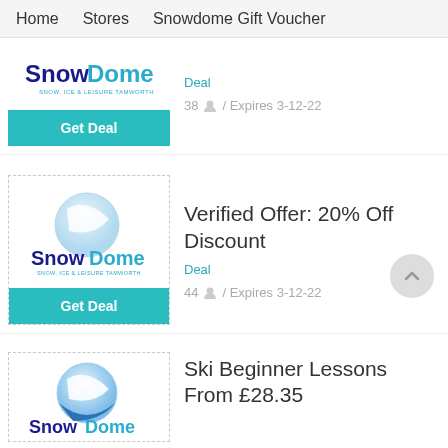Home   Stores   Snowdome Gift Voucher
[Figure (logo): Snowdome logo with 'Get Deal' button below]
Deal
38  /  Expires 3-12-22
[Figure (logo): Snowdome logo with dashed border and 'Get Deal' button below]
Verified Offer: 20% Off Discount
Deal
44  /  Expires 3-12-22
[Figure (logo): Snowdome logo partial, dashed border]
Ski Beginner Lessons From £28.35